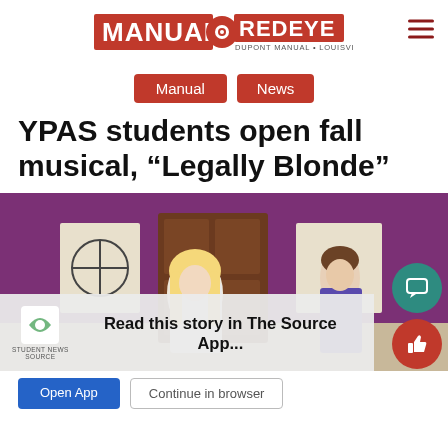[Figure (logo): Manual RedEye logo — dupont manual, Louisville KY]
Manual | News
YPAS students open fall musical, “Legally Blonde”
[Figure (photo): Two students on stage during Legally Blonde musical performance in front of a wooden door with purple walls]
Read this story in The Source App...